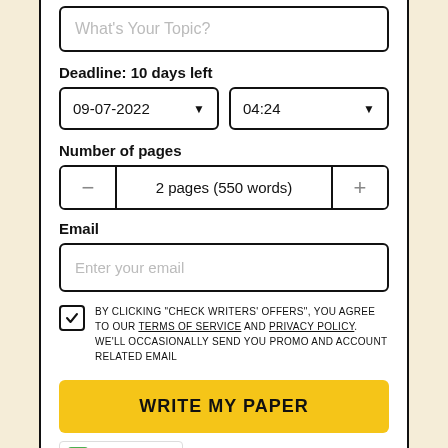What's Your Topic?
Deadline: 10 days left
09-07-2022
04:24
Number of pages
2 pages (550 words)
Email
Enter your email
BY CLICKING "CHECK WRITERS' OFFERS", YOU AGREE TO OUR TERMS OF SERVICE AND PRIVACY POLICY. WE'LL OCCASIONALLY SEND YOU PROMO AND ACCOUNT RELATED EMAIL
WRITE MY PAPER
TrustedSite CERTIFIED SECURE
You won't be charged yet!